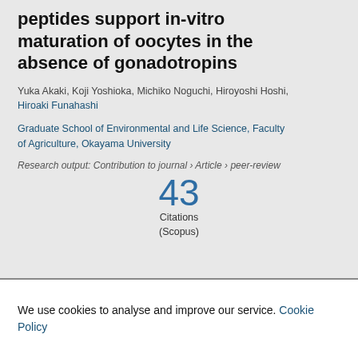peptides support in-vitro maturation of oocytes in the absence of gonadotropins
Yuka Akaki, Koji Yoshioka, Michiko Noguchi, Hiroyoshi Hoshi, Hiroaki Funahashi
Graduate School of Environmental and Life Science, Faculty of Agriculture, Okayama University
Research output: Contribution to journal › Article › peer-review
[Figure (other): Citation count badge showing 43 Citations (Scopus)]
We use cookies to analyse and improve our service. Cookie Policy